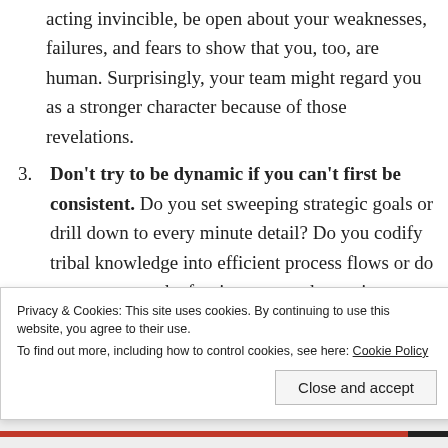acting invincible, be open about your weaknesses, failures, and fears to show that you, too, are human. Surprisingly, your team might regard you as a stronger character because of those revelations.
3. Don't try to be dynamic if you can't first be consistent. Do you set sweeping strategic goals or drill down to every minute detail? Do you codify tribal knowledge into efficient process flows or do you rearrange the furniture to spark creative innovation? Do you sway with the ups and downs of individual relationships or lock a laser beam on the goal? Yes, we should all develop multiple leadership
Privacy & Cookies: This site uses cookies. By continuing to use this website, you agree to their use.
To find out more, including how to control cookies, see here: Cookie Policy